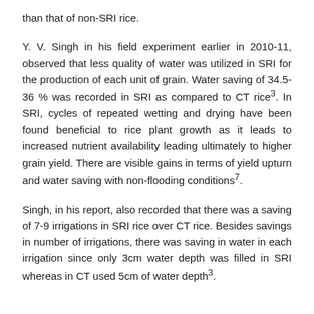than that of non-SRI rice.
Y. V. Singh in his field experiment earlier in 2010-11, observed that less quality of water was utilized in SRI for the production of each unit of grain. Water saving of 34.5-36 % was recorded in SRI as compared to CT rice³. In SRI, cycles of repeated wetting and drying have been found beneficial to rice plant growth as it leads to increased nutrient availability leading ultimately to higher grain yield. There are visible gains in terms of yield upturn and water saving with non-flooding conditions⁷.
Singh, in his report, also recorded that there was a saving of 7-9 irrigations in SRI rice over CT rice. Besides savings in number of irrigations, there was saving in water in each irrigation since only 3cm water depth was filled in SRI whereas in CT used 5cm of water depth³.